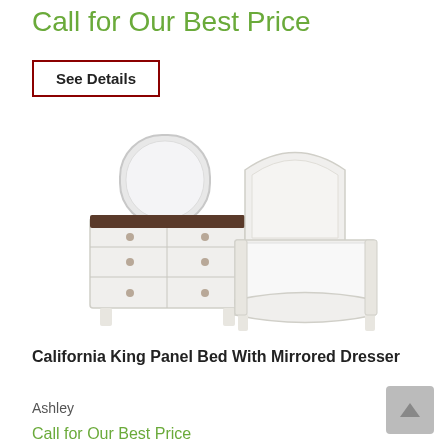Call for Our Best Price
See Details
[Figure (photo): White California King Panel Bed with Mirrored Dresser set: dresser with mirror on left, bed frame on right, both in white/cream finish with dark top accents on dresser]
California King Panel Bed With Mirrored Dresser
Ashley
Call for Our Best Price